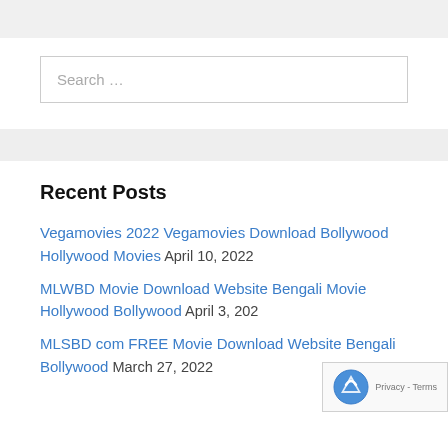Search ...
Recent Posts
Vegamovies 2022 Vegamovies Download Bollywood Hollywood Movies April 10, 2022
MLWBD Movie Download Website Bengali Movie Hollywood Bollywood April 3, 2022
MLSBD com FREE Movie Download Website Bengali Bollywood March 27, 2022